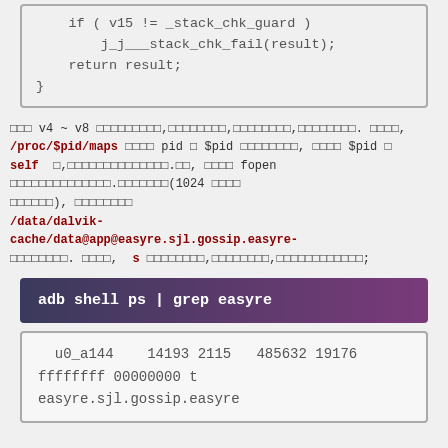[Figure (screenshot): Code snippet showing: if ( v15 != _stack_chk_guard )  j_j___stack_chk_fail(result);  return result; }]
□□□ v4 ~ v8 □□□□□□□□□,□□□□□□□□,□□□□□□□□,□□□□□□□□. □□□□, /proc/$pid/maps □□□□ pid □ $pid □□□□□□□□, □□□□ $pid □ self □,□□□□□□□□□□□□□□.□□, □□□□ fopen □□□□□□□□□□□□□□.□□□□□□□(1024 □□□□ □□□□□□), □□□□□□□□ /data/dalvik-cache/data@app@easyre.sjl.gossip.easyre-□□□□□□□□. □□□□, s □□□□□□□□,□□□□□□□□,□□□□□□□□□□□□;
[Figure (screenshot): Command box: adb shell ps | grep easyre]
[Figure (screenshot): Output: u0_a144   14193 2115  485632 19176 ffffffff 00000000 t easyre.sjl.gossip.easyre]